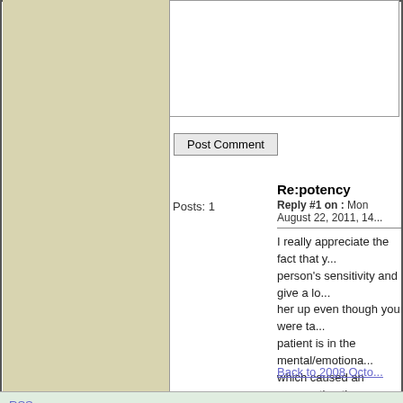Posts: 1
Re:potency
Reply #1 on : Mon August 22, 2011, 14...
I really appreciate the fact that y... person's sensitivity and give a lo... her up even though you were ta... patient is in the mental/emotiona... which caused an aggravation tha... months later. I wish I would have... you instead.
Back to 2008 Octo...
RSS